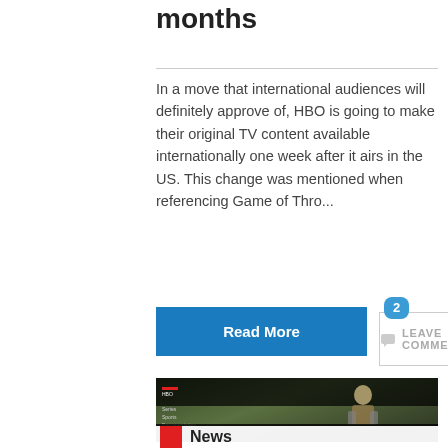months
In a move that international audiences will definitely approve of, HBO is going to make their original TV content available internationally one week after it airs in the US. This change was mentioned when referencing Game of Thro...
Read More
2 LEAVE COMMENT
[Figure (screenshot): Screenshot of an HBO streaming interface showing a Game of Thrones character (Brienne of Tarth) in armor with a navigation menu listing Series, Sports, Documentaries, Comedy, Movies and a filmstrip at the bottom]
News